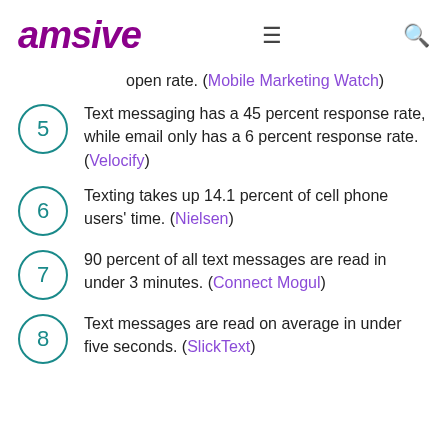amsive
open rate. (Mobile Marketing Watch)
5 Text messaging has a 45 percent response rate, while email only has a 6 percent response rate. (Velocify)
6 Texting takes up 14.1 percent of cell phone users' time. (Nielsen)
7 90 percent of all text messages are read in under 3 minutes. (Connect Mogul)
8 Text messages are read on average in under five seconds. (SlickText)